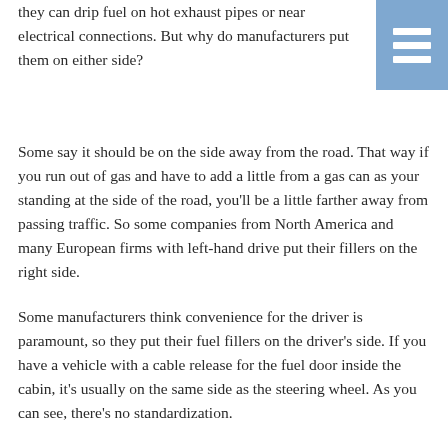they can drip fuel on hot exhaust pipes or near electrical connections.  But why do manufacturers put them on either side?
[Figure (other): Blue menu/hamburger icon with three white horizontal bars on a blue background, positioned in the top-right corner]
Some say it should be on the side away from the road.  That way if you run out of gas and have to add a little from a gas can as your standing at the side of the road, you'll be a little farther away from passing traffic.  So some companies from North America and many European firms with left-hand drive put their fillers on the right side.
Some manufacturers think convenience for the driver is paramount, so they put their fuel fillers on the driver's side.  If you have a vehicle with a cable release for the fuel door inside the cabin, it's usually on the same side as the steering wheel.  As you can see, there's no standardization.